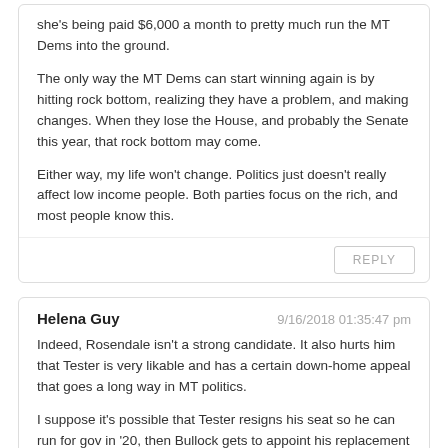she's being paid $6,000 a month to pretty much run the MT Dems into the ground.
The only way the MT Dems can start winning again is by hitting rock bottom, realizing they have a problem, and making changes. When they lose the House, and probably the Senate this year, that rock bottom may come.
Either way, my life won't change. Politics just doesn't really affect low income people. Both parties focus on the rich, and most people know this.
REPLY
Helena Guy
9/16/2018 01:35:47 pm
Indeed, Rosendale isn't a strong candidate. It also hurts him that Tester is very likable and has a certain down-home appeal that goes a long way in MT politics.
I suppose it's possible that Tester resigns his seat so he can run for gov in '20, then Bullock gets to appoint his replacement who can try to hold the seat in '20 as the "incumbent." That's a big gamble, though, considering the